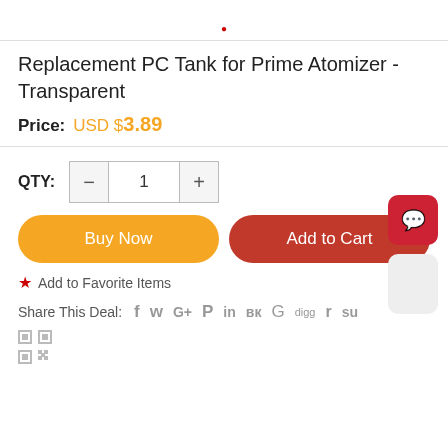Replacement PC Tank for Prime Atomizer - Transparent
Price: USD $3.89
QTY: 1
Buy Now
Add to Cart
Add to Favorite Items
Share This Deal: